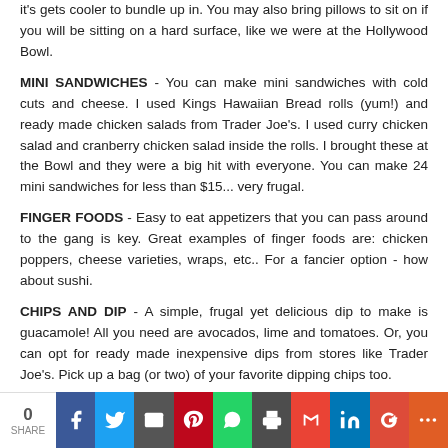it's gets cooler to bundle up in. You may also bring pillows to sit on if you will be sitting on a hard surface, like we were at the Hollywood Bowl.
MINI SANDWICHES - You can make mini sandwiches with cold cuts and cheese. I used Kings Hawaiian Bread rolls (yum!) and ready made chicken salads from Trader Joe's. I used curry chicken salad and cranberry chicken salad inside the rolls. I brought these at the Bowl and they were a big hit with everyone. You can make 24 mini sandwiches for less than $15... very frugal.
FINGER FOODS - Easy to eat appetizers that you can pass around to the gang is key. Great examples of finger foods are: chicken poppers, cheese varieties, wraps, etc.. For a fancier option - how about sushi.
CHIPS AND DIP - A simple, frugal yet delicious dip to make is guacamole! All you need are avocados, lime and tomatoes. Or, you can opt for ready made inexpensive dips from stores like Trader Joe's. Pick up a bag (or two) of your favorite dipping chips too.
0 SHARE [social share bar]